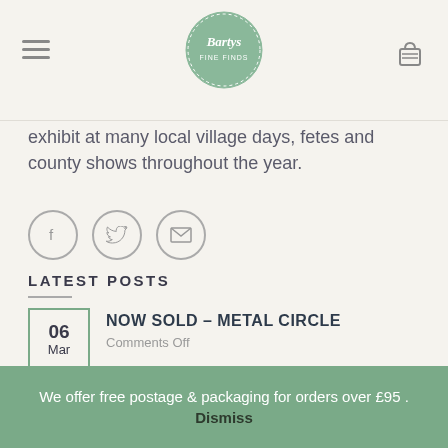[Figure (logo): Bartys Fine Finds circular logo in sage green]
exhibit at many local village days, fetes and county shows throughout the year.
[Figure (infographic): Social sharing icons: Facebook, Twitter, Email - circular outlined icons]
LATEST POSTS
NOW SOLD – METAL CIRCLE | Comments Off | 06 Mar
Rusty Letters and Numbers | Comments Off | 07 Feb
We offer free postage & packaging for orders over £95 . Dismiss